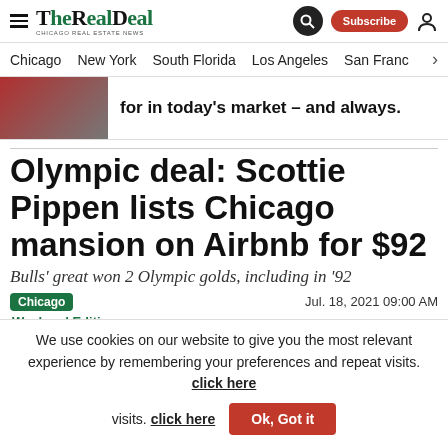THE REAL DEAL — CHICAGO REAL ESTATE NEWS
Chicago  New York  South Florida  Los Angeles  San Franc
[Figure (screenshot): Ad banner with text: for in today's market – and always.]
Olympic deal: Scottie Pippen lists Chicago mansion on Airbnb for $92
Bulls' great won 2 Olympic golds, including in '92
Chicago   Jul. 18, 2021 09:00 AM
Weekend Edition
TRD Staff
We use cookies on our website to give you the most relevant experience by remembering your preferences and repeat visits. click here  Ok, Got it